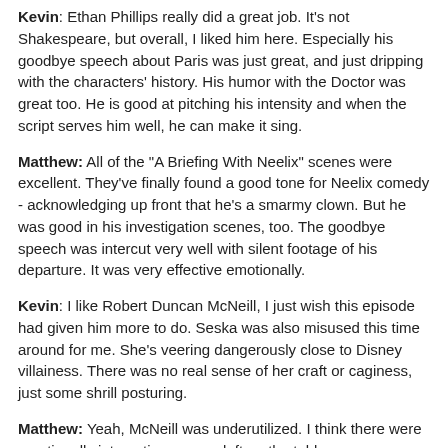Kevin: Ethan Phillips really did a great job. It's not Shakespeare, but overall, I liked him here. Especially his goodbye speech about Paris was just great, and just dripping with the characters' history. His humor with the Doctor was great too. He is good at pitching his intensity and when the script serves him well, he can make it sing.
Matthew: All of the "A Briefing With Neelix" scenes were excellent. They've finally found a good tone for Neelix comedy - acknowledging up front that he's a smarmy clown. But he was good in his investigation scenes, too. The goodbye speech was intercut very well with silent footage of his departure. It was very effective emotionally.
Kevin: I like Robert Duncan McNeill, I just wish this episode had given him more to do. Seska was also misused this time around for me. She's veering dangerously close to Disney villainess. There was no real sense of her craft or caginess, just some shrill posturing.
Matthew: Yeah, McNeill was underutilized. I think there were emotionally interesting scenes left on the table.